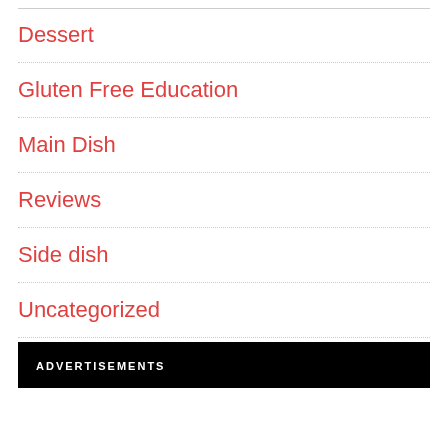Dessert
Gluten Free Education
Main Dish
Reviews
Side dish
Uncategorized
ADVERTISEMENTS